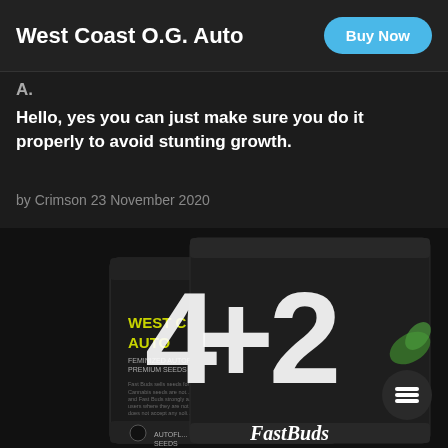West Coast O.G. Auto
A.
Hello, yes you can just make sure you do it properly to avoid stunting growth.
by Crimson 23 November 2020
[Figure (photo): Product photo of West Coast O.G. Auto seed packets from Fast Buds, showing black packaging with yellow brand text and a large white '+42' graphic overlay]